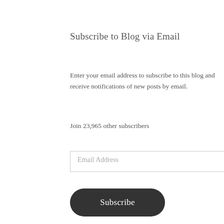Subscribe to Blog via Email
Enter your email address to subscribe to this blog and receive notifications of new posts by email.
Join 23,965 other subscribers
[Figure (other): Email address input field with placeholder text 'Email Address']
[Figure (other): Dark rounded Subscribe button]
Donate / Support The Site
Privacy & Cookies: This site uses cookies. By continuing to use this website, you agree to their use.
To find out more, including how to control cookies, see here: Cookie Policy
Close and accept